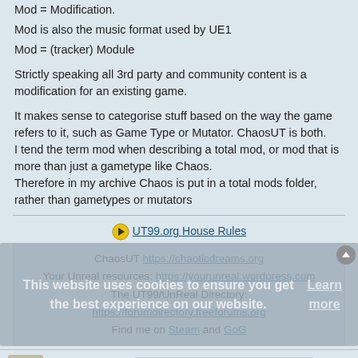Mod = Modification.
Mod is also the music format used by UE1
Mod = (tracker) Module
Strictly speaking all 3rd party and community content is a modification for an existing game.
It makes sense to categorise stuff based on the way the game refers to it, such as Game Type or Mutator. ChaosUT is both.
I tend the term mod when describing a total mod, or mod that is more than just a gametype like Chaos.
Therefore in my archive Chaos is put in a total mods folder, rather than gametypes or mutators
UT99.org House Rules
ChaosUT https://chaoticdreams.org
Your Unreal resources: https://yourunreal.wordpress.com
The UT99/UnReal Directory: https://forumdirectory.freeforums.org
Find me on Steam and GoG
This website uses cookies to ensure you get the best experience on our website. Learn more
Gustavo6046
Godlike
Got it!
Re: Unreal Archive Help Wanted: Game Types & Mods